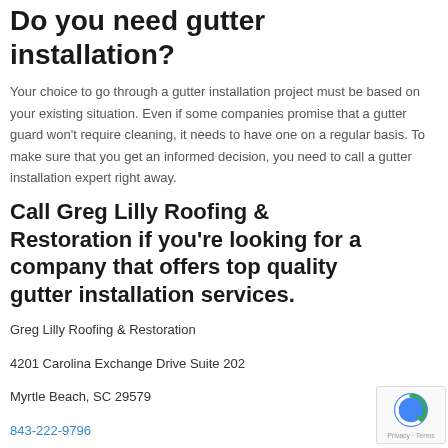Do you need gutter installation?
Your choice to go through a gutter installation project must be based on your existing situation. Even if some companies promise that a gutter guard won't require cleaning, it needs to have one on a regular basis. To make sure that you get an informed decision, you need to call a gutter installation expert right away.
Call Greg Lilly Roofing & Restoration if you're looking for a company that offers top quality gutter installation services.
Greg Lilly Roofing & Restoration
4201 Carolina Exchange Drive Suite 202
Myrtle Beach, SC 29579
843-222-9796
https://www.greglillyroofingandrestoration.com